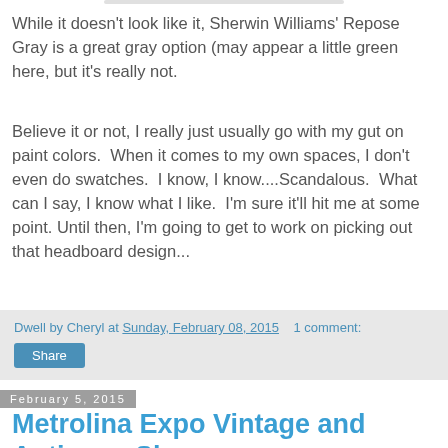While it doesn't look like it, Sherwin Williams' Repose Gray is a great gray option (may appear a little green here, but it's really not.
Believe it or not, I really just usually go with my gut on paint colors.  When it comes to my own spaces, I don't even do swatches.  I know, I know....Scandalous.  What can I say, I know what I like.  I'm sure it'll hit me at some point. Until then, I'm going to get to work on picking out that headboard design...
Dwell by Cheryl at Sunday, February 08, 2015    1 comment:
Share
February 5, 2015
Metrolina Expo Vintage and Antiques Show